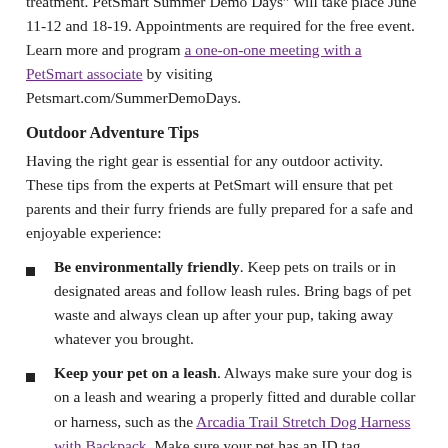treatment. PetSmart Summer Demo Days will take place June 11-12 and 18-19. Appointments are required for the free event. Learn more and program a one-on-one meeting with a PetSmart associate by visiting Petsmart.com/SummerDemoDays.
Outdoor Adventure Tips
Having the right gear is essential for any outdoor activity. These tips from the experts at PetSmart will ensure that pet parents and their furry friends are fully prepared for a safe and enjoyable experience:
Be environmentally friendly. Keep pets on trails or in designated areas and follow leash rules. Bring bags of pet waste and always clean up after your pup, taking away whatever you brought.
Keep your pet on a leash. Always make sure your dog is on a leash and wearing a properly fitted and durable collar or harness, such as the Arcadia Trail Stretch Dog Harness with Backpack. Make sure your pet has an ID tag